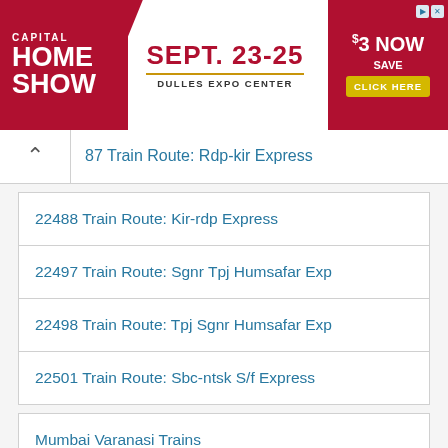[Figure (infographic): Capital Home Show advertisement banner: Sept. 23-25, Dulles Expo Center, Save $3 Now, Click Here]
487 Train Route: Rdp-kir Express
22488 Train Route: Kir-rdp Express
22497 Train Route: Sgnr Tpj Humsafar Exp
22498 Train Route: Tpj Sgnr Humsafar Exp
22501 Train Route: Sbc-ntsk S/f Express
Mumbai Varanasi Trains
Mumbai Gorakhpur Trains
Mumbai Goa Trains